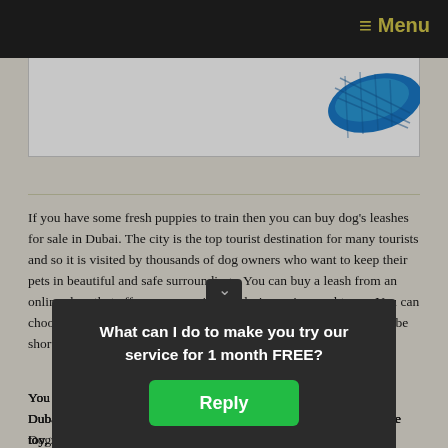≡ Menu
[Figure (photo): Product image area showing a blue dog leash on white background]
If you have some fresh puppies to train then you can buy dog's leashes for sale in Dubai. The city is the top tourist destination for many tourists and so it is visited by thousands of dog owners who want to keep their pets in beautiful and safe surroundings. You can buy a leash from an online shop that offers you a variety of designs, sizes and types. You can choose your dog's breed, the size of your dog and whether it should be short or long.
You can buy both, a long leashed and short-leashed dogs for sale in Dubai. These are available in all the dog breeds, whether they are the toy, mutt, poodle or dachshund. If you are looking for a particularly handsome or attractive dog then you can buy a designer dog leash which will surely impress many people. If you wish to have your dog with you wherever you go then you should train your dog so that he/she is well behaved. A pet can stay with your...
Dogs on...                                                          the pet
What can I do to make you try our service for 1 month FREE?
Reply